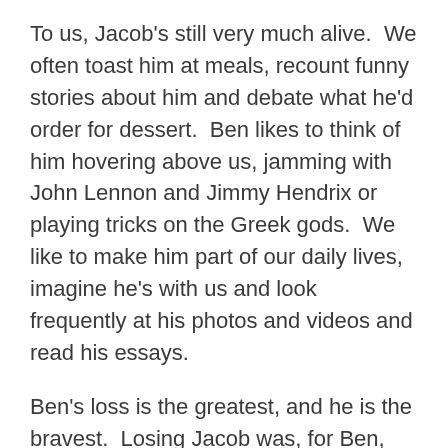To us, Jacob's still very much alive.  We often toast him at meals, recount funny stories about him and debate what he'd order for dessert.  Ben likes to think of him hovering above us, jamming with John Lennon and Jimmy Hendrix or playing tricks on the Greek gods.  We like to make him part of our daily lives, imagine he's with us and look frequently at his photos and videos and read his essays.
Ben's loss is the greatest, and he is the bravest.  Losing Jacob was, for Ben, losing his role as a little brother.  It is not just that he lost his primary playmate.  He also lost his guide into the next steps of childhood, someone to tell him which cool bands to listen to, how to survive homework or what the second grade overnight to the Farm is like.  And finally, we must admit, on the ratio of children to